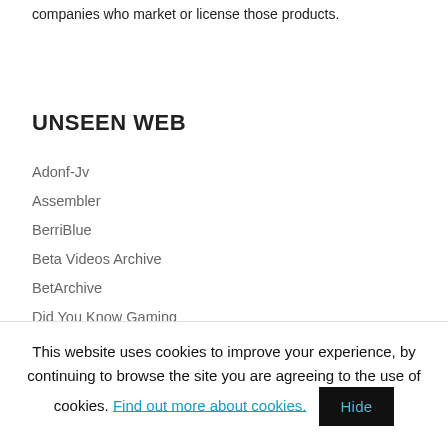companies who market or license those products.
UNSEEN WEB
Adonf-Jv
Assembler
BerriBlue
Beta Videos Archive
BetArchive
Did You Know Gaming
Elude Visibility
Games That Weren't
GamesCollection
GDRI
This website uses cookies to improve your experience, by continuing to browse the site you are agreeing to the use of cookies. Find out more about cookies.